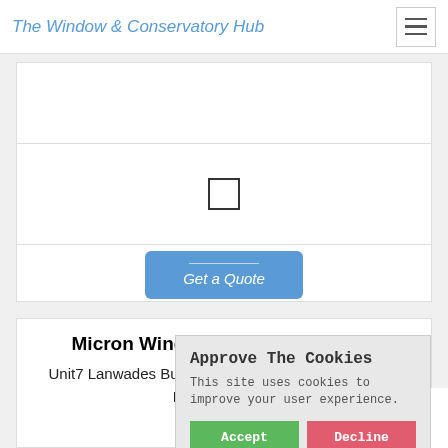The Window & Conservatory Hub
[Figure (screenshot): Form area with checkbox and Get a Quote button]
Micron Windows (Newmarket) Ltd
Unit7 Lanwades Business Park, Bury Road, Kennett, Newmarket, Su
13.1
Approve The Cookies
This site uses cookies to improve your user experience.
Accept  Decline
Cookie policy